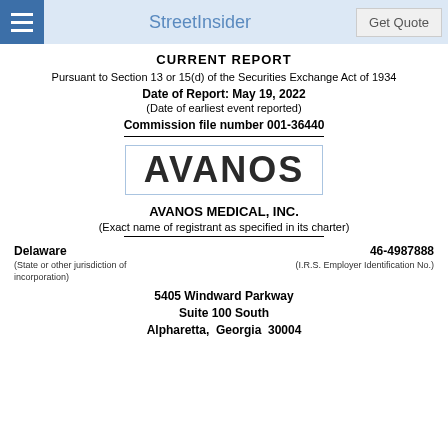StreetInsider | Get Quote
CURRENT REPORT
Pursuant to Section 13 or 15(d) of the Securities Exchange Act of 1934
Date of Report: May 19, 2022
(Date of earliest event reported)
Commission file number 001-36440
[Figure (logo): AVANOS logo in bold black text inside a light blue border box]
AVANOS MEDICAL, INC.
(Exact name of registrant as specified in its charter)
Delaware
46-4987888
(State or other jurisdiction of incorporation)
(I.R.S. Employer Identification No.)
5405 Windward Parkway
Suite 100 South
Alpharetta,  Georgia  30004